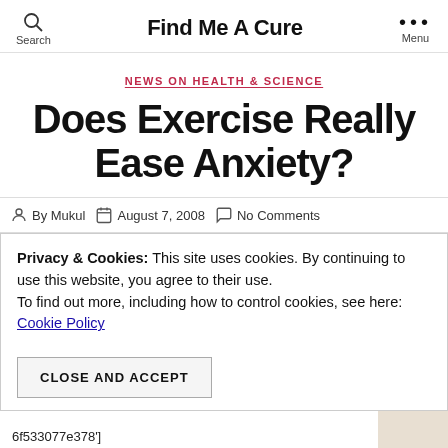Find Me A Cure
NEWS ON HEALTH & SCIENCE
Does Exercise Really Ease Anxiety?
By Mukul   August 7, 2008   No Comments
Privacy & Cookies: This site uses cookies. By continuing to use this website, you agree to their use. To find out more, including how to control cookies, see here: Cookie Policy
CLOSE AND ACCEPT
6f533077e378']